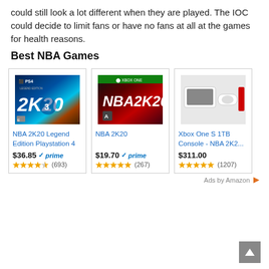could still look a lot different when they are played. The IOC could decide to limit fans or have no fans at all at the games for health reasons.
Best NBA Games
[Figure (screenshot): Product listing for NBA 2K20 Legend Edition Playstation 4 - game cover art showing PS4 logo and player #3]
[Figure (screenshot): Product listing for NBA 2K20 - Xbox One game cover showing NBA player in red arena]
[Figure (screenshot): Product listing for Xbox One S 1TB Console - NBA 2K bundle showing console and accessories]
Ads by Amazon